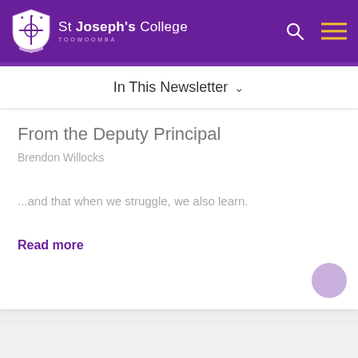St Joseph's College Toowoomba
In This Newsletter
From the Deputy Principal
Brendon Willocks
...and that when we struggle, we also learn.
Read more